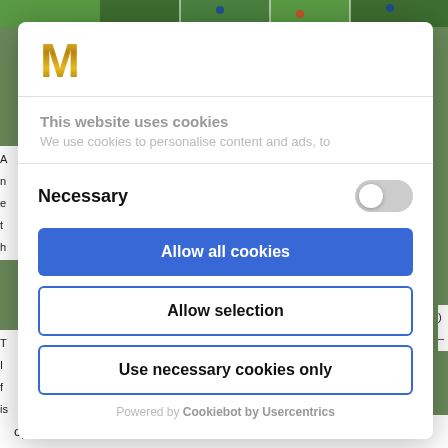[Figure (screenshot): Sports image strip at top of page showing a green football/soccer pitch]
[Figure (logo): Gold metallic letter M logo]
This website uses cookies
We use cookies to personalise content and ads, to
Necessary
Allow all cookies
Allow selection
Use necessary cookies only
Powered by Cookiebot by Usercentrics
opponent will perform a throw-in.